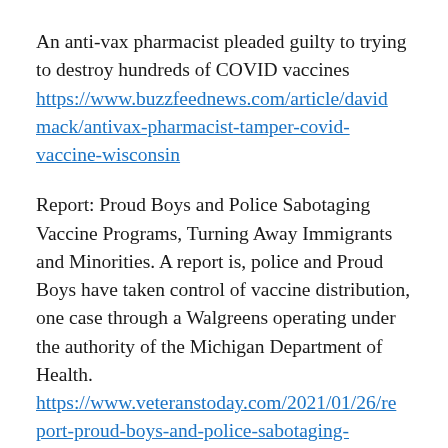An anti-vax pharmacist pleaded guilty to trying to destroy hundreds of COVID vaccines
https://www.buzzfeednews.com/article/davidmack/antivax-pharmacist-tamper-covid-vaccine-wisconsin
Report: Proud Boys and Police Sabotaging Vaccine Programs, Turning Away Immigrants and Minorities. A report is, police and Proud Boys have taken control of vaccine distribution, one case through a Walgreens operating under the authority of the Michigan Department of Health.
https://www.veteranstoday.com/2021/01/26/report-proud-boys-and-police-sabotaging-